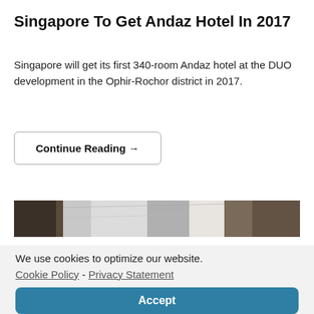Singapore To Get Andaz Hotel In 2017
Singapore will get its first 340-room Andaz hotel at the DUO development in the Ophir-Rochor district in 2017.
Continue Reading →
[Figure (photo): Partial view of hotel interior or architectural photo, cropped at top]
We use cookies to optimize our website. Cookie Policy - Privacy Statement
Accept
[Figure (photo): Partial view of another hotel-related image at the bottom of the page, partially visible]